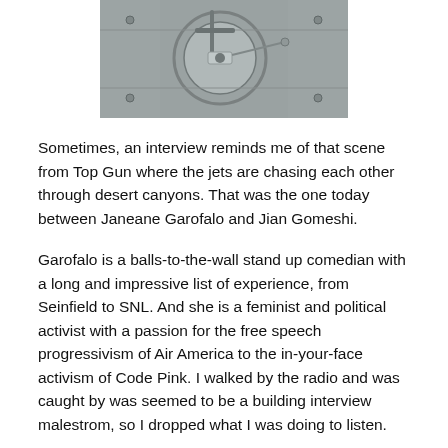[Figure (photo): Close-up photograph of mechanical hardware, possibly an aircraft or vault mechanism, in grey metallic tones.]
Sometimes, an interview reminds me of that scene from Top Gun where the jets are chasing each other through desert canyons. That was the one today between Janeane Garofalo and Jian Gomeshi.
Garofalo is a balls-to-the-wall stand up comedian with a long and impressive list of experience, from Seinfield to SNL. And she is a feminist and political activist with a passion for the free speech progressivism of Air America to the in-your-face activism of Code Pink. I walked by the radio and was caught by was seemed to be a building interview malestrom, so I dropped what I was doing to listen.